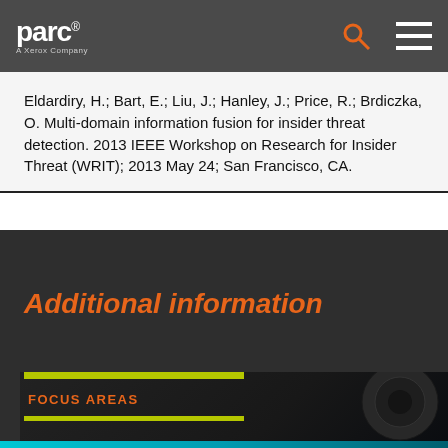parc — A Xerox Company
Eldardiry, H.; Bart, E.; Liu, J.; Hanley, J.; Price, R.; Brdiczka, O. Multi-domain information fusion for insider threat detection. 2013 IEEE Workshop on Research for Insider Threat (WRIT); 2013 May 24; San Francisco, CA.
Additional information
FOCUS AREAS